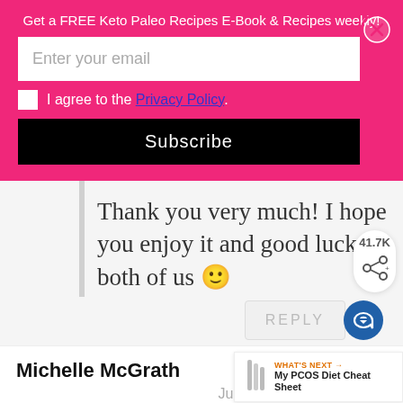Get a FREE Keto Paleo Recipes E-Book & Recipes weekly!
Enter your email
I agree to the Privacy Policy.
Subscribe
Thank you very much! I hope you enjoy it and good luck to both of us 🙂
REPLY
41.7K
Michelle McGrath
June 01, 2017 at 3:12 am
Thank you